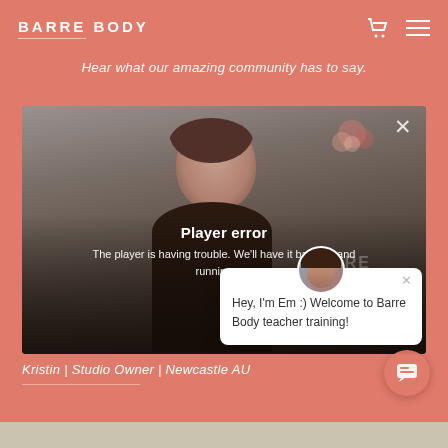BARRE BODY
Hear what our amazing community has to say.
[Figure (screenshot): Video player showing a woman in a room with flowers, overlaid with a 'Player error' message: 'The player is having trouble. We’ll have it back up and running a...' and a chat popup saying 'Hey, I’m Em :) Welcome to Barre Body teacher training!' with a close X button and a woman avatar.]
Kristin | Studio Owner | Newcastle AU